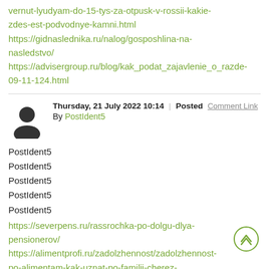vernut-lyudyam-do-15-tys-za-otpusk-v-rossii-kakie-zdes-est-podvodnye-kamni.html https://gidnaslednika.ru/nalog/gosposhlina-na-nasledstvo/ https://advisergroup.ru/blog/kak_podat_zajavlenie_o_razde-09-11-124.html
Thursday, 21 July 2022 10:14 | Posted Comment Link By PostIdent5
PostIdent5
PostIdent5
PostIdent5
PostIdent5
PostIdent5
https://severpens.ru/rassrochka-po-dolgu-dlya-pensionerov/ https://alimentprofi.ru/zadolzhennost/zadolzhennost-po-alimentam-kak-uznat-po-familii-cherez-internet.html